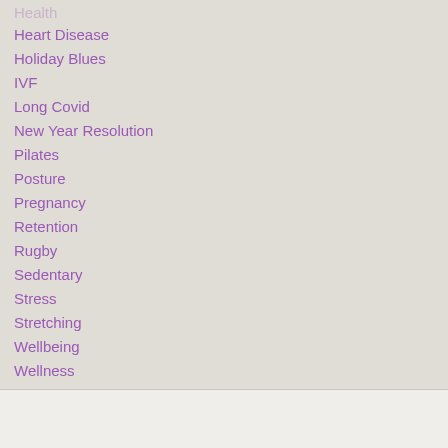Health
Heart Disease
Holiday Blues
IVF
Long Covid
New Year Resolution
Pilates
Posture
Pregnancy
Retention
Rugby
Sedentary
Stress
Stretching
Wellbeing
Wellness
Yoga
RSS Feed